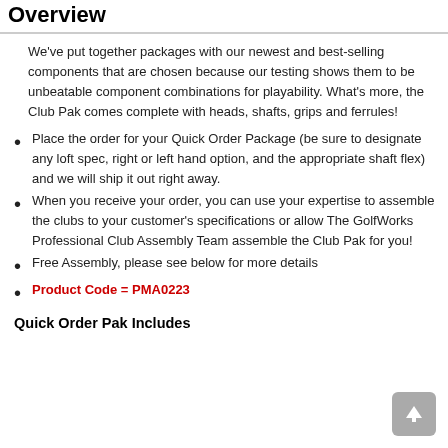Overview
We've put together packages with our newest and best-selling components that are chosen because our testing shows them to be unbeatable component combinations for playability. What's more, the Club Pak comes complete with heads, shafts, grips and ferrules!
Place the order for your Quick Order Package (be sure to designate any loft spec, right or left hand option, and the appropriate shaft flex) and we will ship it out right away.
When you receive your order, you can use your expertise to assemble the clubs to your customer's specifications or allow The GolfWorks Professional Club Assembly Team assemble the Club Pak for you!
Free Assembly, please see below for more details
Product Code = PMA0223
Quick Order Pak Includes